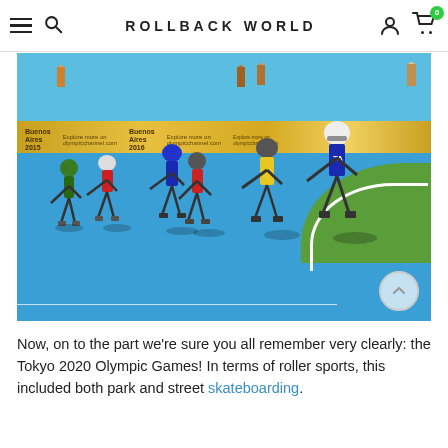ROLLBACK WORLD
[Figure (photo): Inline speed skaters racing on a blue outdoor track at the Buenos Aires 2018 Youth Olympic Games. Six skaters in colorful uniforms lean into a curve on the bright blue track surface. A golden/yellow advertising banner for Buenos Aires 2018 runs along the barrier. Green grass is visible at the curve of the track.]
Now, on to the part we're sure you all remember very clearly: the Tokyo 2020 Olympic Games! In terms of roller sports, this included both park and street skateboarding.